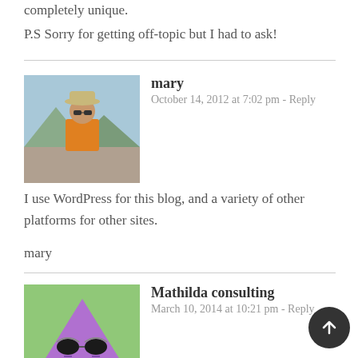completely unique.
P.S Sorry for getting off-topic but I had to ask!
mary
October 14, 2012 at 7:02 pm - Reply
I use WordPress for this blog, and a variety of other platforms for other sites.
mary
Mathilda consulting
March 10, 2014 at 10:21 pm - Reply
During the last years Drupal has really